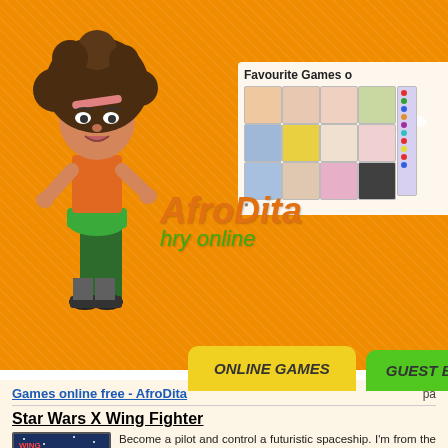[Figure (screenshot): AfroDita website header with orange background, cartoon female character with big curly hair, logo text 'AfroDita hry online', butterfly decorations, favourite games panel on right, navigation buttons 'ONLINE GAMES' and 'GUEST BOOK']
Favourite Games o...
ONLINE GAMES
GUEST BOOK
Games online free - AfroDita
pa...
Star Wars X Wing Fighter
Become a pilot and control a futuristic spaceship. I'm from the classic Star Wars movies. Fight against f perform all sorts of maneuvers. Avoid interference missiles and try to do everything they can to the op them.